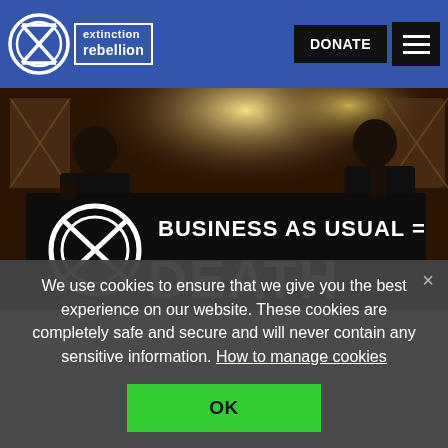extinction rebellion | DONATE
[Figure (photo): Two people holding a large black banner reading 'BUSINESS AS USUAL = DEATH' with the Extinction Rebellion hourglass logo on the left, photographed indoors under warm lights.]
We use cookies to ensure that we give you the best experience on our website. These cookies are completely safe and secure and will never contain any sensitive information. How to manage cookies
OK